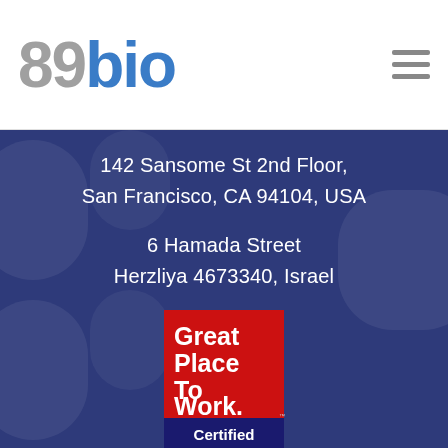[Figure (logo): 89bio logo with grey '89' and blue 'bio' text, plus hamburger menu icon on right]
142 Sansome St 2nd Floor,
San Francisco, CA 94104, USA
6 Hamada Street
Herzliya 4673340, Israel
[Figure (logo): Great Place To Work Certified badge, JAN 2022-JAN 2023, USA]
© 2022 89bio, Inc. All rights reserved.
Trademarks are property of 89bio, Inc.
Terms of Use  |  Privacy Statement